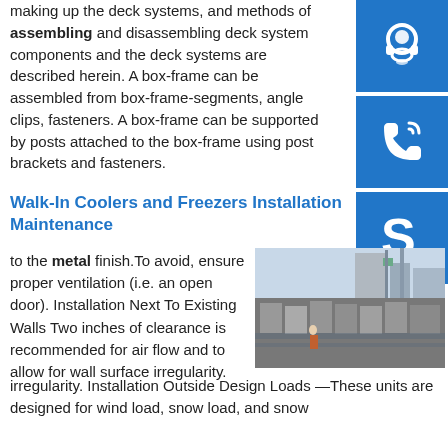making up the deck systems, and methods of assembling and disassembling deck system components and the deck systems are described herein. A box-frame can be assembled from box-frame-segments, angle clips, fasteners. A box-frame can be supported by posts attached to the box-frame using post brackets and fasteners.
[Figure (illustration): Blue square icon with white headset/customer support symbol]
[Figure (illustration): Blue square icon with white phone/call symbol]
[Figure (illustration): Blue square icon with white Skype logo symbol]
Walk-In Coolers and Freezers Installation Maintenance
to the metal finish. To avoid, ensure proper ventilation (i.e. an open door). Installation Next To Existing Walls Two inches of clearance is recommended for air flow and to allow for wall surface irregularity.
[Figure (photo): Construction site with large concrete structures and industrial equipment in background, workers visible]
Installation Outside Design Loads —These units are designed for wind load, snow load, and snow